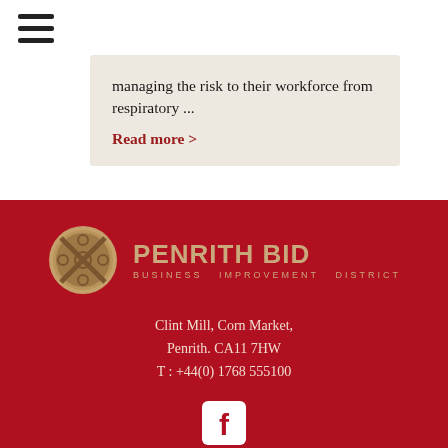[Figure (other): Hamburger menu icon (three horizontal lines)]
managing the risk to their workforce from respiratory ...
Read more >
[Figure (logo): Penrith BID Business Improvement District logo with circular emblem]
Clint Mill, Corn Market,
Penrith. CA11 7HW
T: +44(0) 1768 555100
[Figure (other): Facebook social media icon]